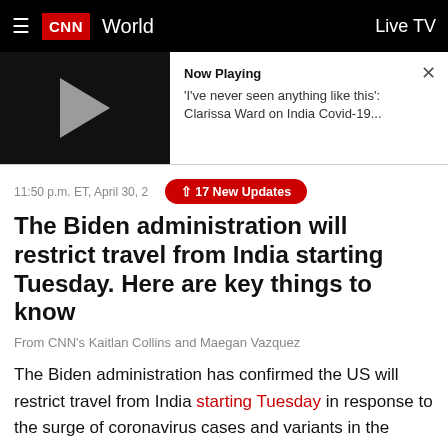CNN World | Live TV
[Figure (screenshot): Video player thumbnail showing play button with 'Now Playing' panel: 'I've never seen anything like this': Clarissa Ward on India Covid-19...' with close X button]
11:50 p.m. ET, April 30, 2...
↑ 17 New Updates
The Biden administration will restrict travel from India starting Tuesday. Here are key things to know
From CNN's Kaitlan Collins and Maegan Vazquez
The Biden administration has confirmed the US will restrict travel from India starting Tuesday in response to the surge of coronavirus cases and variants in the country.
"On the advice of the Centers for Disease Control and